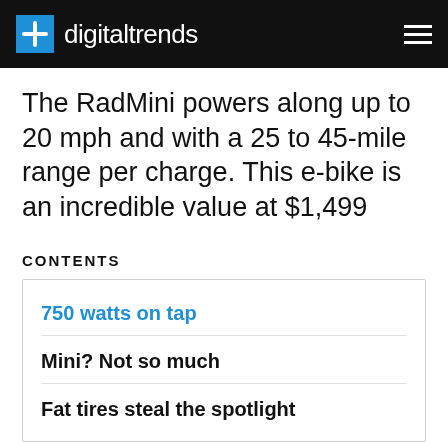digitaltrends
The RadMini powers along up to 20 mph and with a 25 to 45-mile range per charge. This e-bike is an incredible value at $1,499
CONTENTS
750 watts on tap
Mini? Not so much
Fat tires steal the spotlight